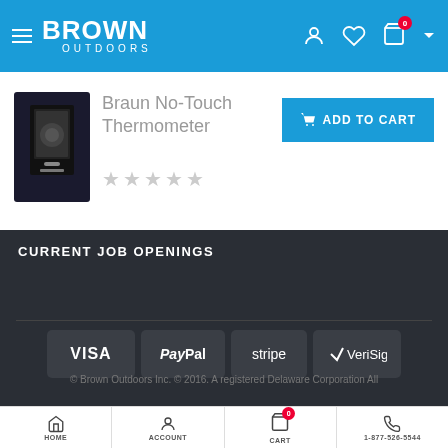Brown Outdoors
Braun No-Touch Thermometer
[Figure (photo): Product image of Braun No-Touch Thermometer box in black packaging]
ADD TO CART
CURRENT JOB OPENINGS
[Figure (logo): Payment method logos: VISA, PayPal, stripe, VeriSign]
© Brown Outdoors Inc. © 2016. A registered Delaware Corporation All
HOME | ACCOUNT | CART | 1-877-526-5544